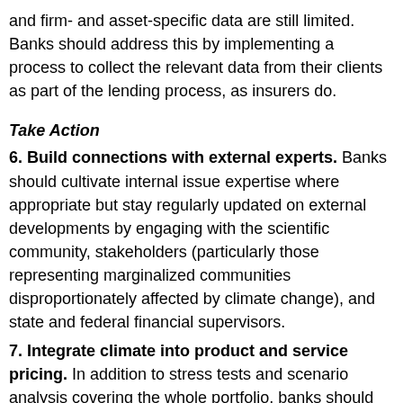and firm- and asset-specific data are still limited. Banks should address this by implementing a process to collect the relevant data from their clients as part of the lending process, as insurers do.
Take Action
6. Build connections with external experts. Banks should cultivate internal issue expertise where appropriate but stay regularly updated on external developments by engaging with the scientific community, stakeholders (particularly those representing marginalized communities disproportionately affected by climate change), and state and federal financial supervisors.
7. Integrate climate into product and service pricing. In addition to stress tests and scenario analysis covering the whole portfolio, banks should embed climate physical risk into